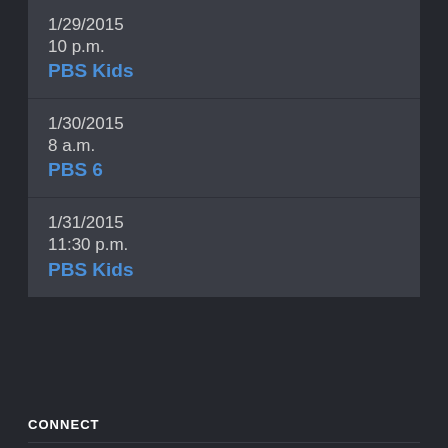1/29/2015
10 p.m.
PBS Kids
1/30/2015
8 a.m.
PBS 6
1/31/2015
11:30 p.m.
PBS Kids
CONNECT
Newsletter
Facebook
Twitter